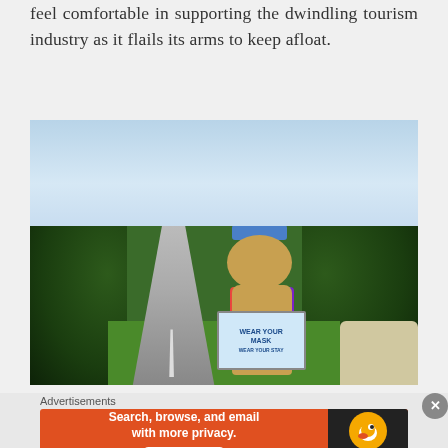feel comfortable in supporting the dwindling tourism industry as it flails its arms to keep afloat.
[Figure (photo): A straw scarecrow figure wearing a rainbow-colored face mask and a hat, holding a sign reading 'Wear Your Mask', positioned at the side of a rural road with green bushes and grass around it.]
We’re already planning to go back, armed with
Advertisements
[Figure (other): DuckDuckGo advertisement banner: 'Search, browse, and email with more privacy. All in One Free App' with DuckDuckGo logo on dark background.]